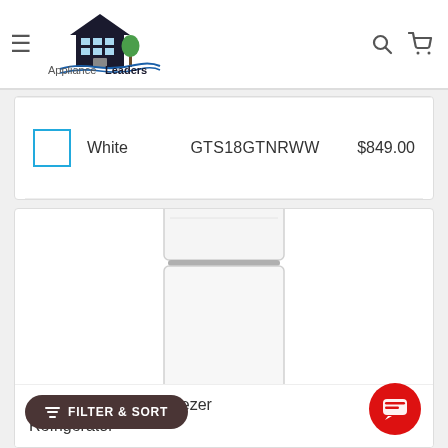[Figure (logo): Appliance Leaders logo with stylized house/building icon and text]
| Color Swatch | Color | Model | Price |
| --- | --- | --- | --- |
| [white swatch] | White | GTS18GTNRWW | $849.00 |
[Figure (photo): White top-freezer refrigerator product image]
Cu. Ft. White Top Freezer Refrigerator